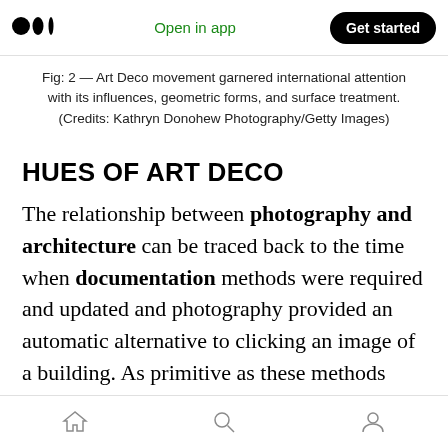Open in app | Get started
Fig: 2 — Art Deco movement garnered international attention with its influences, geometric forms, and surface treatment. (Credits: Kathryn Donohew Photography/Getty Images)
HUES OF ART DECO
The relationship between photography and architecture can be traced back to the time when documentation methods were required and updated and photography provided an automatic alternative to clicking an image of a building. As primitive as these methods were, they captured basic information such as lines, surfaces, and tones.
Home | Search | Profile